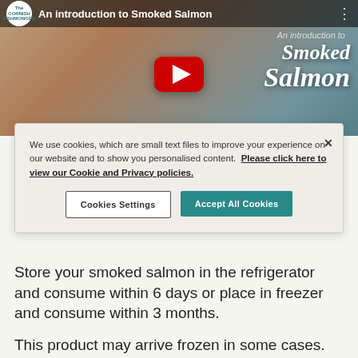[Figure (screenshot): YouTube video thumbnail for 'An introduction to Smoked Salmon' by The Cornish Fishmonger, showing a play button and 'Smoked Salmon' script text overlay on a salmon/seafood background image.]
We use cookies, which are small text files to improve your experience on our website and to show you personalised content. Please click here to view our Cookie and Privacy policies.
Cookies Settings
Accept All Cookies
Store your smoked salmon in the refrigerator and consume within 6 days or place in freezer and consume within 3 months.
This product may arrive frozen in some cases.